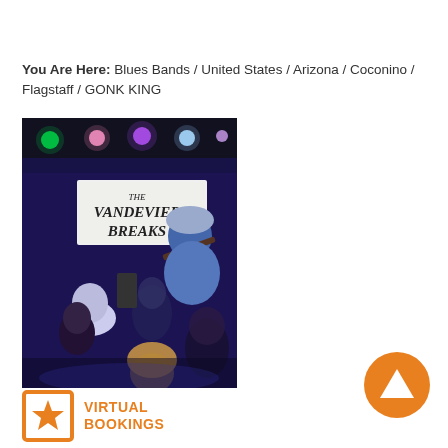You Are Here: Blues Bands / United States / Arizona / Coconino / Flagstaff / GONK KING
[Figure (photo): Band performing on stage with banner reading 'The Vandevier Breaks', colorful stage lighting, crowd dancing in foreground]
[Figure (illustration): Orange circular back-to-top button with upward-pointing triangle arrow]
[Figure (logo): Virtual Bookings logo: orange square border with star, text reading VIRTUAL BOOKINGS]